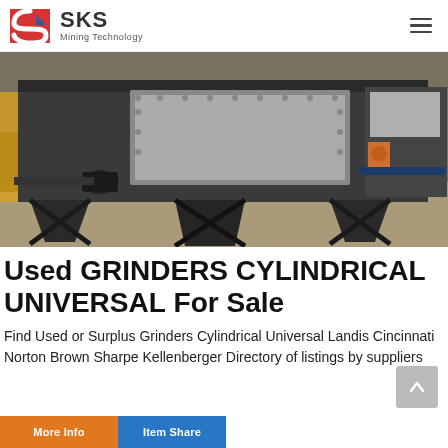[Figure (logo): SKS Mining Technology logo with red and blue geometric S-shaped icon and company name]
[Figure (photo): Industrial cylindrical grinder machine on a workshop floor, large black metal structure with rectangular opening and metal legs]
Used GRINDERS CYLINDRICAL UNIVERSAL For Sale
Find Used or Surplus Grinders Cylindrical Universal Landis Cincinnati Norton Brown Sharpe Kellenberger Directory of listings by suppliers